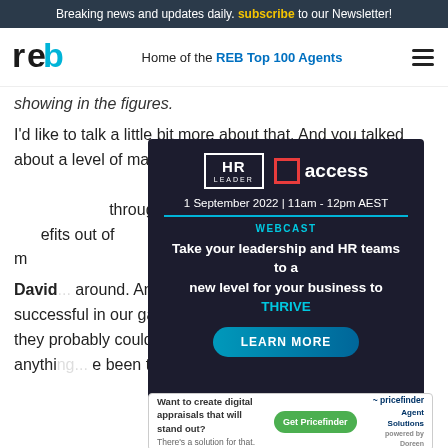Breaking news and updates daily. subscribe to our Newsletter!
reb — Home of the REB Top 100 Agents
showing in the figures.
I'd like to talk a little bit more about that. And you talked about a level of maturity as well. Is that something ... f hard... through... efits out of ... s to the m... ow did th...
[Figure (infographic): HR Leader + Access webcast ad. 1 September 2022 | 11am - 12pm AEST. WEBCAST: Take your leadership and HR teams to a new level for your business to THRIVE. LEARN MORE button.]
David: around. And everybody I think that's been successful in our game has been through period where they probably could... Didn't feel like they could get anything... e been t... ou
[Figure (infographic): Pricefinder Agent Solutions ad. Want to create digital appraisals that will stand out? There's a solution for that. Get Pricefinder button.]